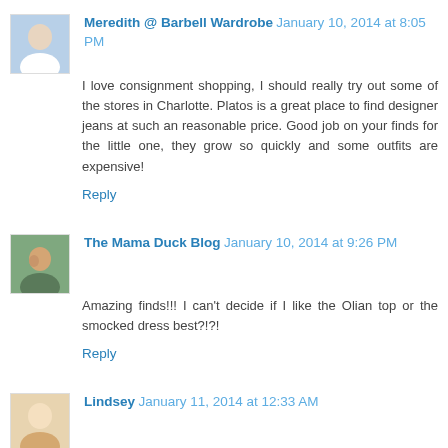Meredith @ Barbell Wardrobe January 10, 2014 at 8:05 PM
I love consignment shopping, I should really try out some of the stores in Charlotte. Platos is a great place to find designer jeans at such an reasonable price. Good job on your finds for the little one, they grow so quickly and some outfits are expensive!
Reply
The Mama Duck Blog January 10, 2014 at 9:26 PM
Amazing finds!!! I can't decide if I like the Olian top or the smocked dress best?!?!
Reply
Lindsey January 11, 2014 at 12:33 AM
WOW! Those are some amazing deals..especially finding two different Lilly pieces! Plus those little girl outfits are